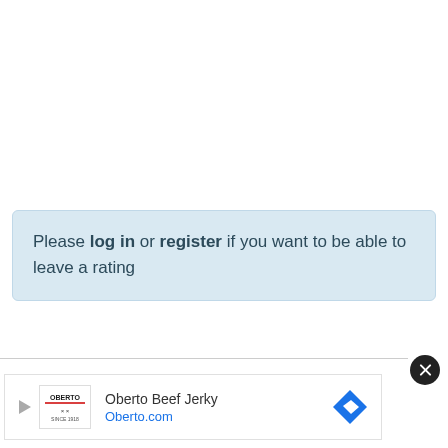Please log in or register if you want to be able to leave a rating
[Figure (screenshot): Advertisement for Oberto Beef Jerky showing logo, brand name, website Oberto.com, and a blue navigation arrow icon]